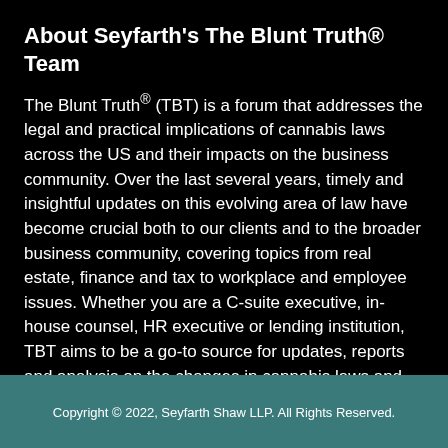About Seyfarth's The Blunt Truth® Team
The Blunt Truth® (TBT) is a forum that addresses the legal and practical implications of cannabis laws across the US and their impacts on the business community. Over the last several years, timely and insightful updates on this evolving area of law have become crucial both to our clients and to the broader business community, covering topics from real estate, finance and tax to workplace and employee issues. Whether you are a C-suite executive, in-house counsel, HR executive or lending institution, TBT aims to be a go-to source for updates, reports and analysis on the changes in cannabis laws and regulations and how they impact your business.
Copyright © 2022, Seyfarth Shaw LLP. All Rights Reserved.